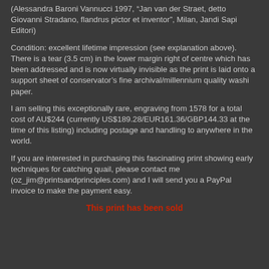(Alessandra Baroni Vannucci 1997, "Jan van der Straet, detto Giovanni Stradano, flandrus pictor et inventor", Milan, Jandi Sapi Editori)
Condition: excellent lifetime impression (see explanation above). There is a tear (3.5 cm) in the lower margin right of centre which has been addressed and is now virtually invisible as the print is laid onto a support sheet of conservator’s fine archival/millennium quality washi paper.
I am selling this exceptionally rare, engraving from 1578 for a total cost of AU$244 (currently US$189.28/EUR161.36/GBP144.33 at the time of this listing) including postage and handling to anywhere in the world.
If you are interested in purchasing this fascinating print showing early techniques for catching quail, please contact me (oz_jim@printsandprinciples.com) and I will send you a PayPal invoice to make the payment easy.
This print has been sold